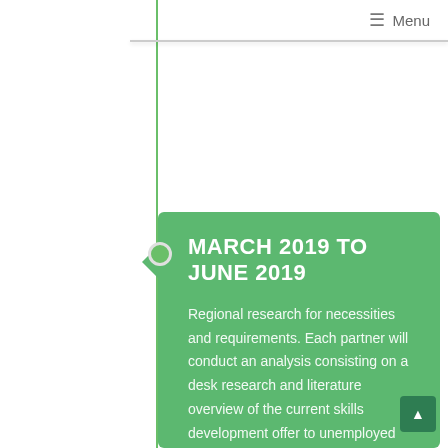☰ Menu
MARCH 2019 TO JUNE 2019
Regional research for necessities and requirements. Each partner will conduct an analysis consisting on a desk research and literature overview of the current skills development offer to unemployed